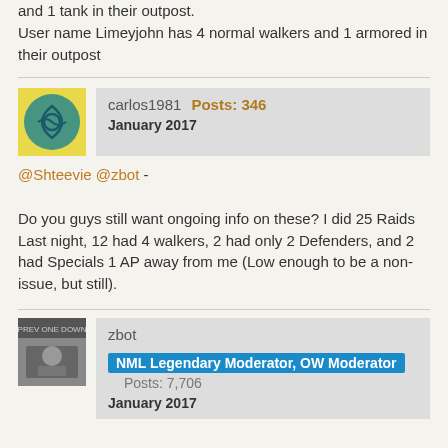and 1 tank in their outpost. User name Limeyjohn has 4 normal walkers and 1 armored in their outpost
carlos1981   Posts: 346
January 2017
@Shteevie @zbot -

Do you guys still want ongoing info on these? I did 25 Raids Last night, 12 had 4 walkers, 2 had only 2 Defenders, and 2 had Specials 1 AP away from me (Low enough to be a non-issue, but still).
zbot   NML Legendary Moderator, OW Moderator
Posts: 7,706
January 2017